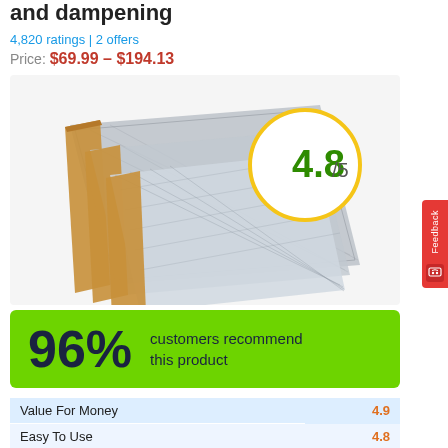and dampening
4,820 ratings | 2 offers
Price: $69.99 – $194.13
[Figure (photo): Sheets of metallic bubble wrap insulation material with wooden edging, overlapping diagonally. A yellow circle badge shows rating 4.8/5 in green.]
96% customers recommend this product
| Category | Score |
| --- | --- |
| Value For Money | 4.9 |
| Easy To Use | 4.8 |
| Adhesion | 4.8 |